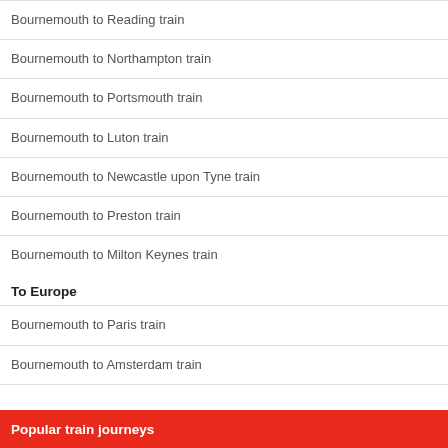Bournemouth to Reading train
Bournemouth to Northampton train
Bournemouth to Portsmouth train
Bournemouth to Luton train
Bournemouth to Newcastle upon Tyne train
Bournemouth to Preston train
Bournemouth to Milton Keynes train
To Europe
Bournemouth to Paris train
Bournemouth to Amsterdam train
Popular train journeys